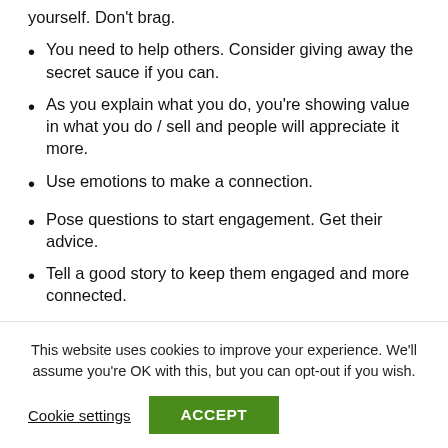yourself. Don't brag.
You need to help others. Consider giving away the secret sauce if you can.
As you explain what you do, you're showing value in what you do / sell and people will appreciate it more.
Use emotions to make a connection.
Pose questions to start engagement. Get their advice.
Tell a good story to keep them engaged and more connected.
5. The Headline is Key
This website uses cookies to improve your experience. We'll assume you're OK with this, but you can opt-out if you wish.
Cookie settings  ACCEPT